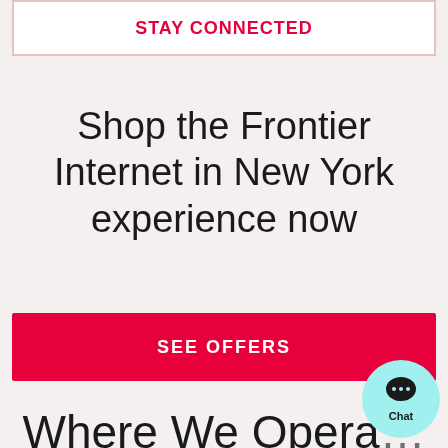STAY CONNECTED
Shop the Frontier Internet in New York experience now
SEE OFFERS
Where We Opera…
[Figure (other): Chat bubble icon with ellipsis dots and Chat label]